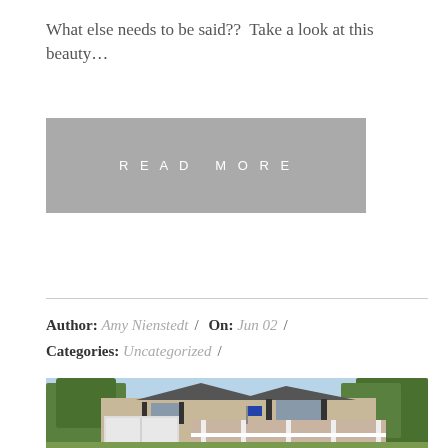What else needs to be said??  Take a look at this beauty...
READ MORE
Author: Amy Nienstedt / On: Jun 02 / Categories: Uncategorized /
[Figure (photo): Exterior photo of a two-story beige/tan craftsman-style house with a covered front porch, white railings, attached garage, and surrounding trees and landscaping.]